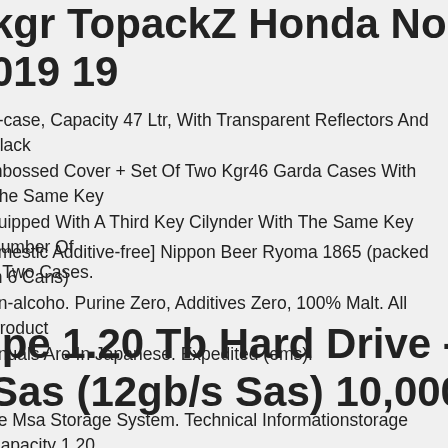kgr TopackZ Honda No 700 S 2019 19
Top-case, Capacity 47 Ltr, With Transparent Reflectors And Black Embossed Cover + Set Of Two Kgr46 Garda Cases With The Same Key Equipped With A Third Key Cilynder With The Same Key Number Of The Two Cases.
[Domestic Additive-free] Nippon Beer Ryoma 1865 (packed In 6 Cans) Non-alcoho. Purine Zero, Additives Zero, 100% Malt. All Product Manuals Are In Japanese. Expedited (ems).
Hpe 1.20 Tb Hard Drive - 2.5" Internal Sas (12gb/s Sas) 10,000rpm, 6 Pack
Hpe Msa Storage System. Technical Informationstorage Capacity 1.20 Tb. Interfacesportsdrive Interface Sas. Drive Interface Standard 12gb/s. Drive Performancespindle Speed (rpm) 10000.